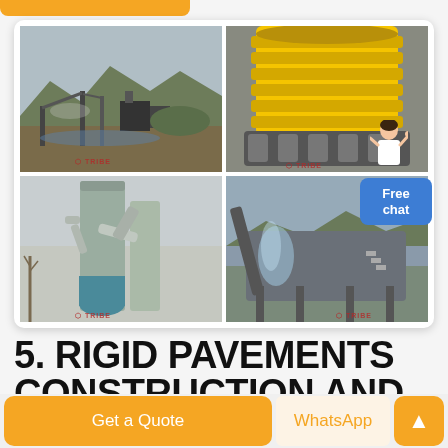[Figure (photo): Four-panel photo grid showing quarrying and crushing equipment: top-left shows an open quarry mining operation site with conveyors and machinery; top-right shows a large yellow cone crusher machine; bottom-left shows industrial vertical silos and pipe systems; bottom-right shows a sand washing or conveying machine with water spray. Each panel has a TRIBE watermark logo.]
5. RIGID PAVEMENTS CONSTRUCTION AND
Free chat
Get a Quote
WhatsApp